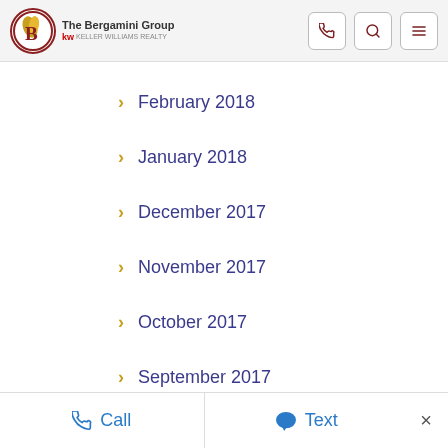[Figure (logo): The Bergamini Group logo with KW Keller Williams branding and navigation icons (phone, search, menu)]
February 2018
January 2018
December 2017
November 2017
October 2017
September 2017
August 2017
Call   Text